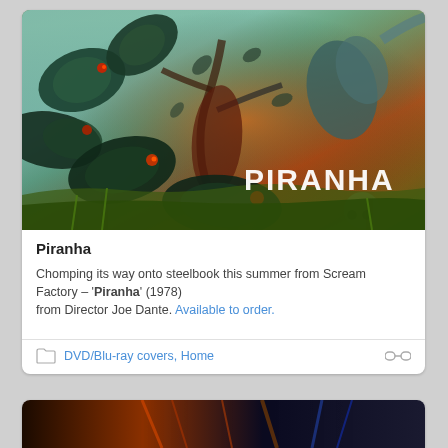[Figure (illustration): Piranha movie steelbook cover art showing piranha fish attacking swimmers in a chaotic underwater/surface scene with the title PIRANHA displayed in white text]
Piranha
Chomping its way onto steelbook this summer from Scream Factory – 'Piranha' (1978) from Director Joe Dante. Available to order.
DVD/Blu-ray covers, Home